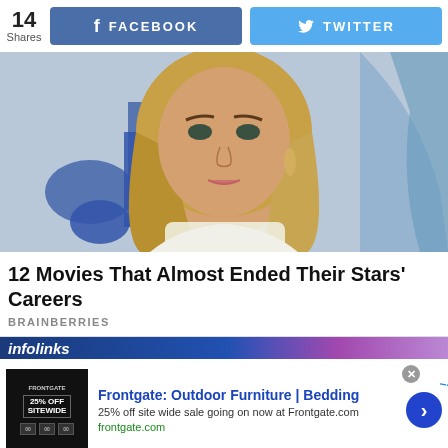14 Shares
FACEBOOK
TWITTER
[Figure (photo): Close-up photo of a woman with long blonde hair, wearing a white choker top, against a blue background]
12 Movies That Almost Ended Their Stars' Careers
BRAINBERRIES
[Figure (infographic): infolinks advertisement bar with colorful background]
Frontgate: Outdoor Furniture | Bedding
25% off site wide sale going on now at Frontgate.com
frontgate.com